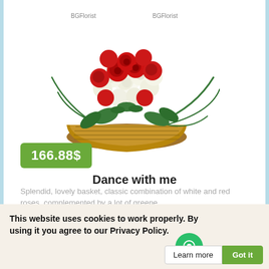[Figure (photo): A flower basket arranged with red and white roses with green foliage, watermarked with BGFlorist text]
166.88$
Dance with me
Splendid, lovely basket, classic combination of white and red roses, complemented by a lot of greene...
This website uses cookies to work properly. By using it you agree to our Privacy Policy.